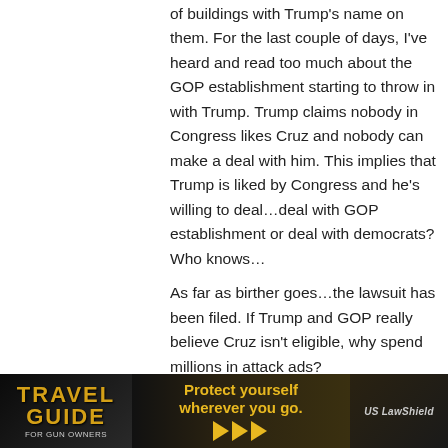of buildings with Trump's name on them. For the last couple of days, I've heard and read too much about the GOP establishment starting to throw in with Trump. Trump claims nobody in Congress likes Cruz and nobody can make a deal with him. This implies that Trump is liked by Congress and he's willing to deal…deal with GOP establishment or deal with democrats? Who knows…
As far as birther goes…the lawsuit has been filed. If Trump and GOP really believe Cruz isn't eligible, why spend millions in attack ads?
Reply
Ironbear
January 21, 2016 At 13:06
"If Trump and GOP really believe Cruz isn't ... ck ads?"
[Figure (infographic): Advertisement banner for Travel Guide for Gun Owners featuring 'Protect yourself wherever you go.' with US LawShield branding]